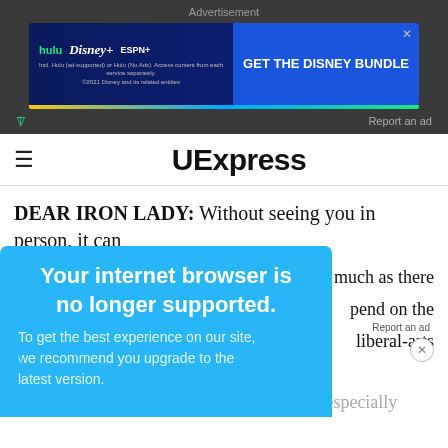Advertisement
[Figure (screenshot): Disney Bundle advertisement banner with Hulu, Disney+, ESPN+ logos and 'GET THE DISNEY BUNDLE' call to action button on dark blue background]
UExpress
DEAR IRON LADY: Without seeing you in person, it can
[Figure (screenshot): Browser compatibility warning popup overlay in light blue: 'Your internet browser is no longer supported.' with subtext 'To get the best experience on our site, we recommend you upgrade to the latest version.']
s much as there
pend on the
liberal-arts
et anxious over
the idea of approaching someone they find especially